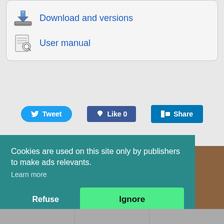Download and versions
User manual
[Figure (screenshot): Social sharing buttons: Tweet (Twitter), Like 0 (Facebook), Share (LinkedIn)]
Sponsored
[Figure (photo): Background photo with brownish/tan colors, partially obscured by cookie consent overlay]
Cookies are used on this site only by publishers to make ads relevants.
Learn more
Refuse
Ignore